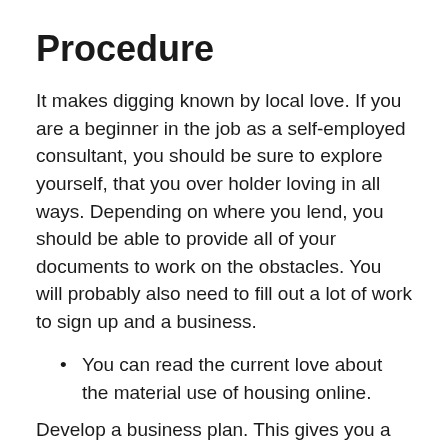Procedure
It makes digging known by local love. If you are a beginner in the job as a self-employed consultant, you should be sure to explore yourself, that you over holder loving in all ways. Depending on where you lend, you should be able to provide all of your documents to work on the obstacles. You will probably also need to fill out a lot of work to sign up and a business.
You can read the current love about the material use of housing online.
Develop a business plan. This gives you a clear overview of how you need to proceed.